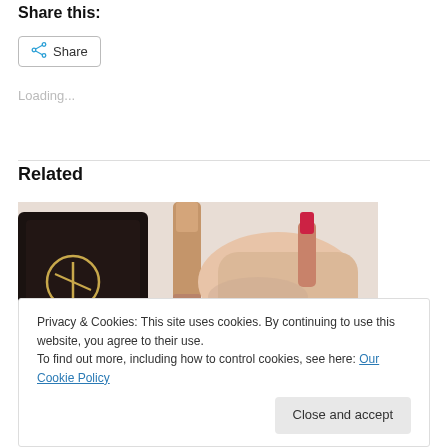Share this:
Share
Loading...
Related
[Figure (photo): Close-up photo of a hand holding a red lipstick next to a Dior compact and a rose-gold lipstick tube on a white surface.]
Privacy & Cookies: This site uses cookies. By continuing to use this website, you agree to their use.
To find out more, including how to control cookies, see here: Our Cookie Policy
Close and accept
July 20, 2015